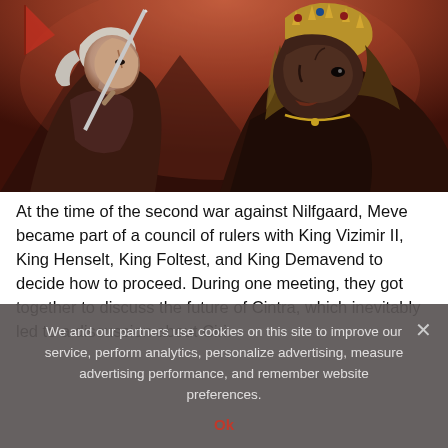[Figure (illustration): Fantasy illustration showing two characters: a white-haired warrior holding a sword on the left, and a crowned dark-skinned queen/warrior on the right, in a dramatic reddish-brown color palette.]
At the time of the second war against Nilfgaard, Meve became part of a council of rulers with King Vizimir II, King Henselt, King Foltest, and King Demavend to decide how to proceed. During one meeting, they got together to discuss the future of Cintra, which inevitably led to a discussion about Ciri.
We and our partners use cookies on this site to improve our service, perform analytics, personalize advertising, measure advertising performance, and remember website preferences.
Ok